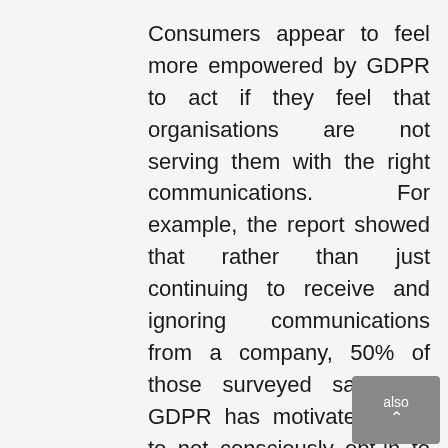Consumers appear to feel more empowered by GDPR to act if they feel that organisations are not serving them with the right communications. For example, the report showed that rather than just continuing to receive and ignoring communications from a company, 50% of those surveyed said that GDPR has motivated them to not consciously opt-in to begin with, or if opted in, make them more likely to subscribe.

This feeling of empowerment was also illustrated back in August in a report based on a study by business intelligence and data management firm SAS. The SAS study